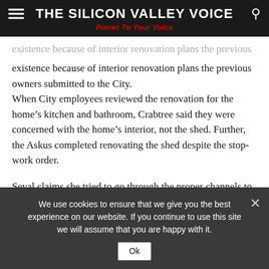THE SILICON VALLEY VOICE — Power To Your Voice
existence because of interior renovation plans the previous owners submitted to the City.
When City employees reviewed the renovation for the home's kitchen and bathroom, Crabtree said they were concerned with the home's interior, not the shed. Further, the Askus completed renovating the shed despite the stop-work order.
Seval claims she tried to go through the proper channels to complete the work but got conflicting statements from a variety of people at City Hall.
Prior Court...
We use cookies to ensure that we give you the best experience on our website. If you continue to use this site we will assume that you are happy with it.